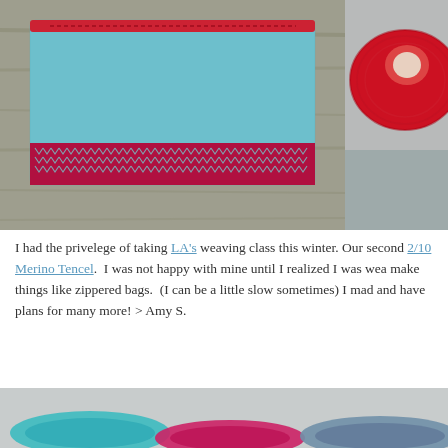[Figure (photo): A woven zippered pouch/bag in teal/light blue with a red zipper and a red and gray chevron stripe band at the bottom, placed on a wooden surface.]
[Figure (photo): A red spool/cone of yarn thread, partially visible on the right side of the page.]
I had the privelege of taking LA's weaving class this winter. Our second 2/10 Merino Tencel.  I was not happy with mine until I realized I was wea make things like zippered bags.  (I can be a little slow sometimes) I mad and have plans for many more! > Amy S.
[Figure (photo): Bottom portion of image showing colorful woven yarn skeins in teal, pink/magenta, and blue-gray colors.]